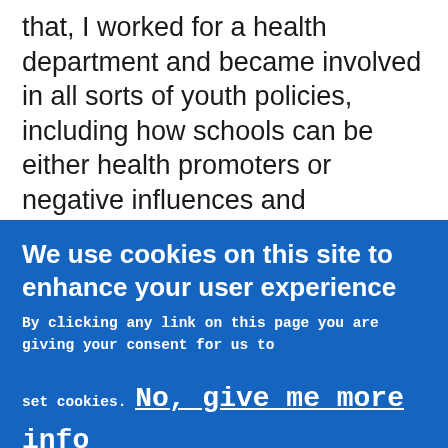that, I worked for a health department and became involved in all sorts of youth policies, including how schools can be either health promoters or negative influences and compared how those different environments affect sexuality education or health education.
After about five years, I moved to the CDC and worked on HIV/STDs, adolescent school health, and finally reproductive health. At every stage, I received the chance to work with youth issues, including street youth, so called “high-risk youth,” youth coming into STD clinics, and youth in foster care or detention. In all those areas, I think the center of
We use cookies on this site to enhance your user experience
By clicking any link on this page you are giving your consent for us to

set cookies. No, give me more info
OK, I agree
No, thanks